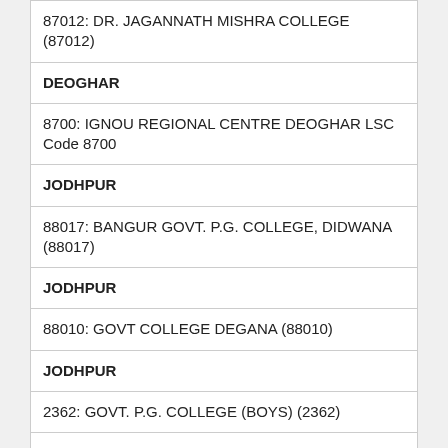87012: DR. JAGANNATH MISHRA COLLEGE (87012)
DEOGHAR
8700: IGNOU REGIONAL CENTRE DEOGHAR LSC Code 8700
JODHPUR
88017: BANGUR GOVT. P.G. COLLEGE, DIDWANA (88017)
JODHPUR
88010: GOVT COLLEGE DEGANA (88010)
JODHPUR
2362: GOVT. P.G. COLLEGE (BOYS) (2362)
JODHPUR
2311: KUCHAMAN COLLEGE (2311)